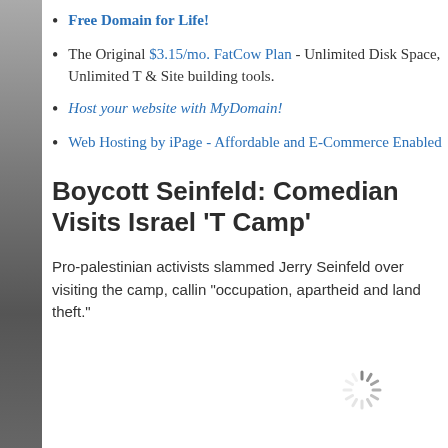Free Domain for Life!
The Original $3.15/mo. FatCow Plan - Unlimited Disk Space, Unlimited T & Site building tools.
Host your website with MyDomain!
Web Hosting by iPage - Affordable and E-Commerce Enabled
Boycott Seinfeld: Comedian Visits Israel 'T Camp'
Pro-palestinian activists slammed Jerry Seinfeld over visiting the camp, callin "occupation, apartheid and land theft."
[Figure (other): Loading spinner icon]